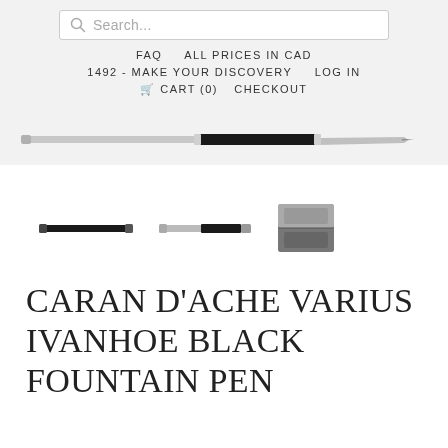Search...
FAQ   ALL PRICES IN CAD
1492 - MAKE YOUR DISCOVERY   LOG IN
🛒 CART (0)   CHECKOUT
[Figure (photo): Long thin fountain pen shown horizontally, silver body with black grip section]
[Figure (photo): Three product thumbnail images: pen cap view, pen body view, and a rectangular pen case/box]
CARAN D'ACHE VARIUS IVANHOE BLACK FOUNTAIN PEN